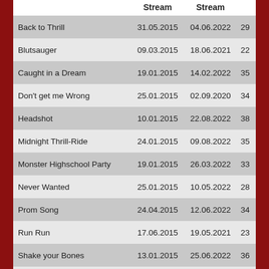|  | Stream | Stream |  |
| --- | --- | --- | --- |
| Back to Thrill | 31.05.2015 | 04.06.2022 | 29 |
| Blutsauger | 09.03.2015 | 18.06.2021 | 22 |
| Caught in a Dream | 19.01.2015 | 14.02.2022 | 35 |
| Don't get me Wrong | 25.01.2015 | 02.09.2020 | 34 |
| Headshot | 10.01.2015 | 22.08.2022 | 38 |
| Midnight Thrill-Ride | 24.01.2015 | 09.08.2022 | 35 |
| Monster Highschool Party | 19.01.2015 | 26.03.2022 | 33 |
| Never Wanted | 25.01.2015 | 10.05.2022 | 28 |
| Prom Song | 24.04.2015 | 12.06.2022 | 34 |
| Run Run | 17.06.2015 | 19.05.2021 | 23 |
| Shake your Bones | 13.01.2015 | 25.06.2022 | 36 |
| Trash Talkers | 18.02.2015 | 14.05.2022 | 32 |